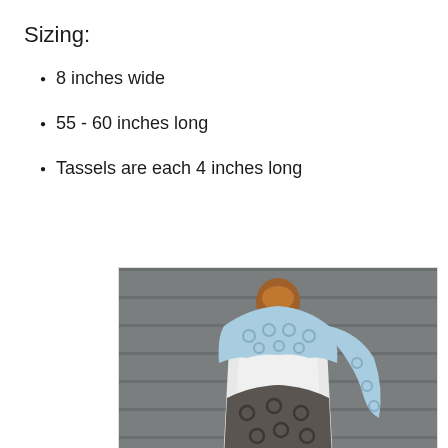Sizing:
8 inches wide
55 - 60 inches long
Tassels are each 4 inches long
[Figure (photo): A mannequin/dress form displaying a crocheted scarf with blue, dark brown/grey, and cream/white color blocks in a lacy crochet stitch pattern, photographed against a grey wooden fence background. The mannequin has a wooden ball top. The scarf hangs around the neck area.]